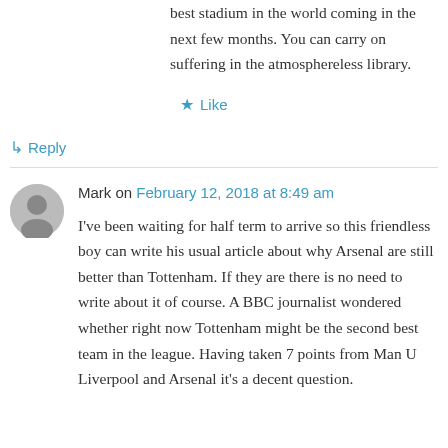best stadium in the world coming in the next few months. You can carry on suffering in the atmosphereless library.
★ Like
↳ Reply
Mark on February 12, 2018 at 8:49 am
I've been waiting for half term to arrive so this friendless boy can write his usual article about why Arsenal are still better than Tottenham. If they are there is no need to write about it of course. A BBC journalist wondered whether right now Tottenham might be the second best team in the league. Having taken 7 points from Man U Liverpool and Arsenal it's a decent question.